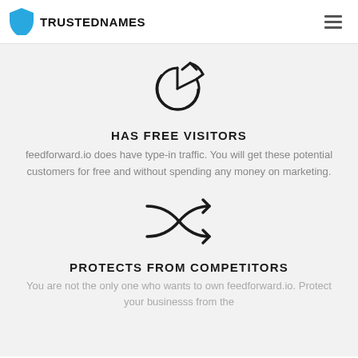TRUSTEDNAMES
[Figure (illustration): Pie chart icon with a slice separated, outline style]
HAS FREE VISITORS
feedforward.io does have type-in traffic. You will get these potential customers for free and without spending any money on marketing.
[Figure (illustration): Shuffle/crossover arrows icon, outline style]
PROTECTS FROM COMPETITORS
You are not the only one who wants to own feedforward.io. Protect your businesss from the